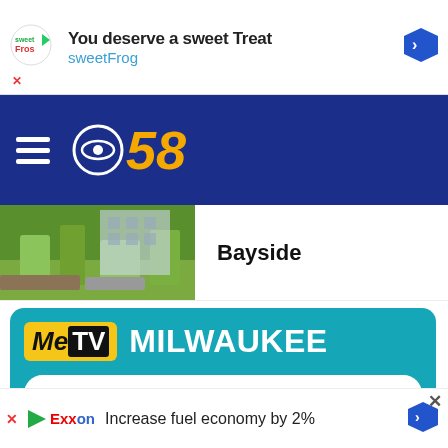[Figure (screenshot): SweetFrog advertisement banner: 'You deserve a sweet Treat sweetFrog' with logo and arrow icon]
[Figure (logo): CBS 58 navigation bar with hamburger menu and CBS 58 logo on dark blue background]
Bayside
[Figure (infographic): MeTV Milwaukee promotional widget on teal background. Shows ON NOW: Svengoolie and UP NEXT: Batman with Full Schedule and Where To Watch buttons]
[Figure (screenshot): Exxon advertisement: 'Increase fuel economy by 2%' with Exxon logo and arrow]